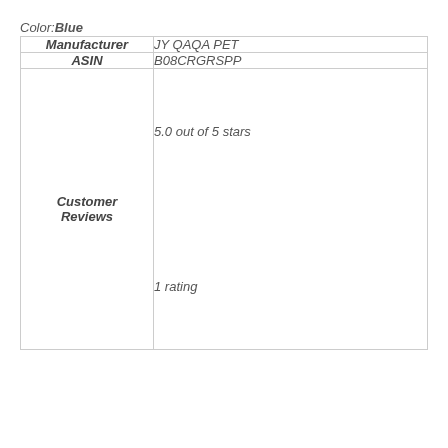Color: Blue
| Manufacturer | JY QAQA PET |
| ASIN | B08CRGRSPP |
| Customer Reviews | 5.0 out of 5 stars
1 rating |